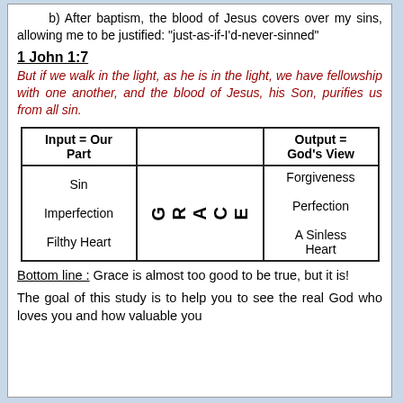b) After baptism, the blood of Jesus covers over my sins, allowing me to be justified: "just-as-if-I'd-never-sinned"
1 John 1:7
But if we walk in the light, as he is in the light, we have fellowship with one another, and the blood of Jesus, his Son, purifies us from all sin.
| Input = Our Part |  | Output = God's View |
| --- | --- | --- |
| Sin | G R A C E | Forgiveness |
| Imperfection |  | Perfection |
| Filthy Heart |  | A Sinless Heart |
Bottom line : Grace is almost too good to be true, but it is!
The goal of this study is to help you to see the real God who loves you and how valuable you